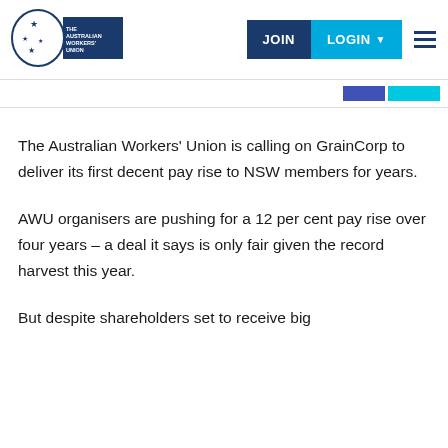[Figure (logo): The Australian Workers' Union logo — crescent moon with stars and text]
JOIN  LOGIN  ☰
The Australian Workers' Union is calling on GrainCorp to deliver its first decent pay rise to NSW members for years.
AWU organisers are pushing for a 12 per cent pay rise over four years – a deal it says is only fair given the record harvest this year.
But despite shareholders set to receive big